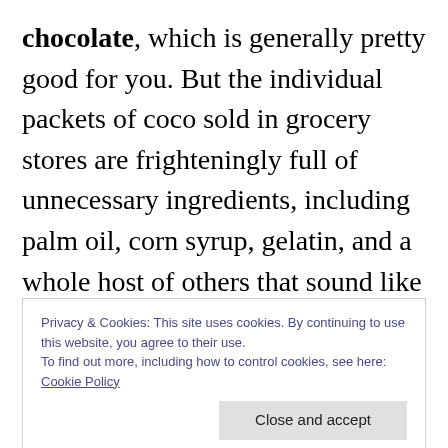chocolate, which is generally pretty good for you. But the individual packets of coco sold in grocery stores are frighteningly full of unnecessary ingredients, including palm oil, corn syrup, gelatin, and a whole host of others that sound like they belong in a lab, not your food. This year, choose unsweetened cacao and add natural sweeteners and warm spices. If you're going dairy-free, nut milks will add even more flavor to your cup.
Privacy & Cookies: This site uses cookies. By continuing to use this website, you agree to their use.
To find out more, including how to control cookies, see here: Cookie Policy
half an hour and a handful of basic ingredients,